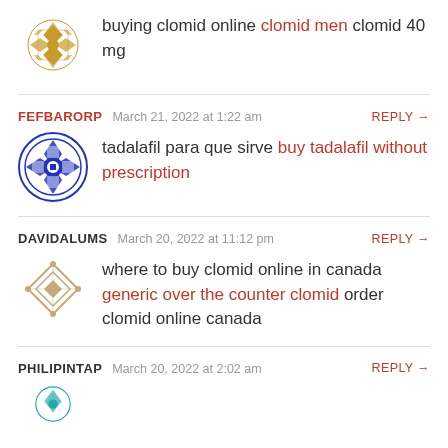buying clomid online clomid men clomid 40 mg
FEFBARORP  March 21, 2022 at 1:22 am  REPLY →
tadalafil para que sirve buy tadalafil without prescription
DAVIDALUMS  March 20, 2022 at 11:12 pm  REPLY →
where to buy clomid online in canada generic over the counter clomid order clomid online canada
PHILIPINTAP  March 20, 2022 at 2:02 am  REPLY →